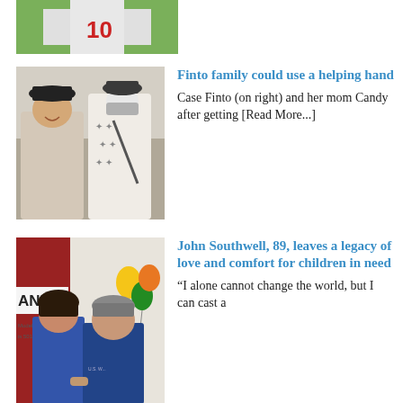[Figure (photo): Partial photo at top of page showing a person wearing a jersey with number 10, outdoors on grass]
[Figure (photo): Two people outdoors, one wearing a mask and a patterned shirt with a crossbody bag, and another person smiling beside them]
Finto family could use a helping hand
Case Finto (on right) and her mom Candy after getting [Read More...]
[Figure (photo): Two people in blue t-shirts standing in front of a building with balloons, partial sign reading 'ANK' visible]
John Southwell, 89, leaves a legacy of love and comfort for children in need
“I alone cannot change the world, but I can cast a
[Read More...]